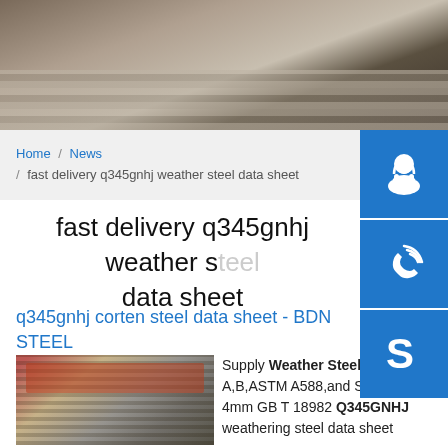[Figure (photo): Stack of metal/steel sheets photographed from the side, showing layered edges with dark and light tones.]
Home / News / fast delivery q345gnhj weather steel data sheet
fast delivery q345gnhj weather steel data sheet
q345gnhj corten steel data sheet - BDN STEEL
[Figure (photo): Industrial warehouse/factory interior with steel structure, cranes visible, with stacked steel plates in foreground.]
Supply Weather Steel,Corten A,B,ASTM A588,and Ship steel 4mm GB T 18982 Q345GNHJ weathering steel data sheet